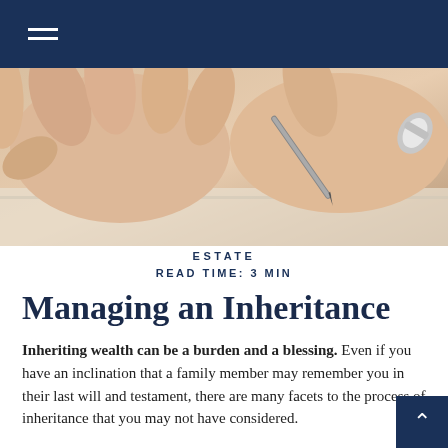[Figure (photo): Navigation bar with dark navy blue background and white hamburger menu icon (three horizontal lines) in the upper left]
[Figure (photo): Close-up photo of two hands writing with a pen on paper, rings visible on right hand]
ESTATE
READ TIME: 3 MIN
Managing an Inheritance
Inheriting wealth can be a burden and a blessing. Even if you have an inclination that a family member may remember you in their last will and testament, there are many facets to the process of inheritance that you may not have considered.